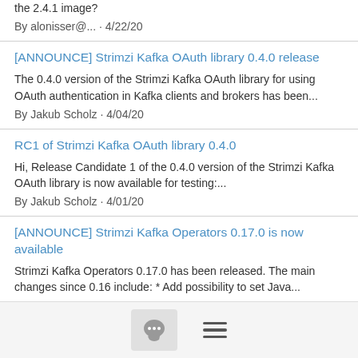the 2.4.1 image?
By alonisser@... · 4/22/20
[ANNOUNCE] Strimzi Kafka OAuth library 0.4.0 release
The 0.4.0 version of the Strimzi Kafka OAuth library for using OAuth authentication in Kafka clients and brokers has been...
By Jakub Scholz · 4/04/20
RC1 of Strimzi Kafka OAuth library 0.4.0
Hi, Release Candidate 1 of the 0.4.0 version of the Strimzi Kafka OAuth library is now available for testing:...
By Jakub Scholz · 4/01/20
[ANNOUNCE] Strimzi Kafka Operators 0.17.0 is now available
Strimzi Kafka Operators 0.17.0 has been released. The main changes since 0.16 include: * Add possibility to set Java...
By Jakub Scholz · 3/25/20